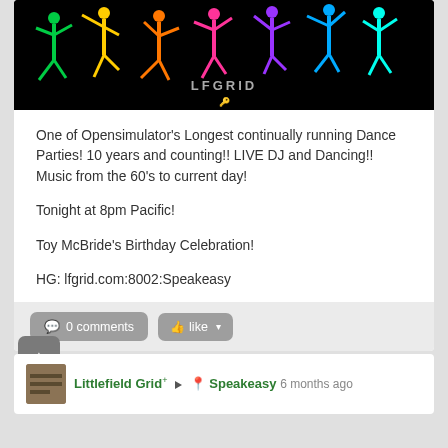[Figure (photo): Black banner image with colorful dancing silhouette figures in green, yellow, orange, red, pink, purple, and blue. 'LFGRID' logo text and key icon visible at bottom center.]
One of Opensimulator's Longest continually running Dance Parties! 10 years and counting!! LIVE DJ and Dancing!! Music from the 60's to current day!

Tonight at 8pm Pacific!

Toy McBride's Birthday Celebration!

HG: lfgrid.com:8002:Speakeasy
0 comments
like
Littlefield Grid+ ▶ Speakeasy 6 months ago